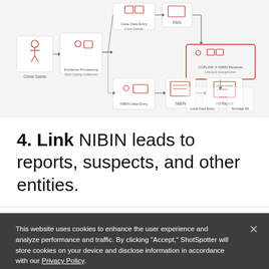[Figure (flowchart): Flowchart diagram showing NIBIN data processing workflow with steps including Crime Scene, Evidence Processing, Case Data Entry, NIBIN Data Entry, NIBIN, Hit Report, RMS, COPLINK X NIBIN Receiver, Local Data Entry, and Smudge Hit icons connected by arrows.]
4. Link NIBIN leads to reports, suspects, and other entities.
This website uses cookies to enhance the user experience and analyze performance and traffic. By clicking "Accept," ShotSpotter will store cookies on your device and disclose information in accordance with our Privacy Policy.
Manage Choices
Accept & Proceed